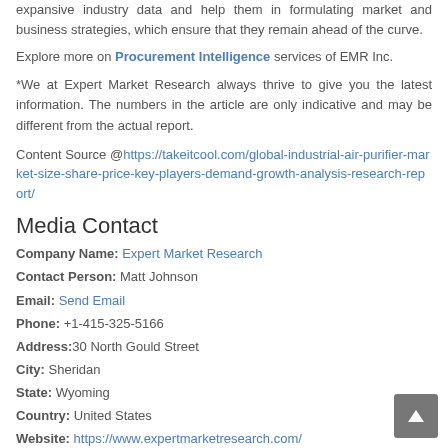expansive industry data and help them in formulating market and business strategies, which ensure that they remain ahead of the curve.
Explore more on Procurement Intelligence services of EMR Inc.
*We at Expert Market Research always thrive to give you the latest information. The numbers in the article are only indicative and may be different from the actual report.
Content Source @https://takeitcool.com/global-industrial-air-purifier-market-size-share-price-key-players-demand-growth-analysis-research-report/
Media Contact
Company Name: Expert Market Research
Contact Person: Matt Johnson
Email: Send Email
Phone: +1-415-325-5166
Address:30 North Gould Street
City: Sheridan
State: Wyoming
Country: United States
Website: https://www.expertmarketresearch.com/